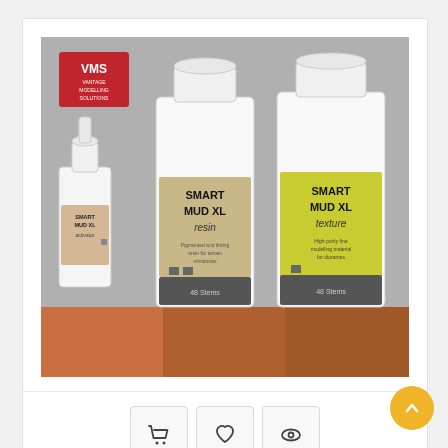[Figure (photo): Product photo showing three VMS Smart Mud XL bottles: a small dropper bottle labeled 'SMART MUD XL activator', a medium bottle labeled 'SMART MUD XL resin', and a large bottle labeled 'SMART MUD XL texture'. VMS Vantage Modelling Solutions logo in top left corner. Bottles sit on a surface with brown mud color swatches below. Gray background.]
VMS - Smart Mud XL 09...
$14.45